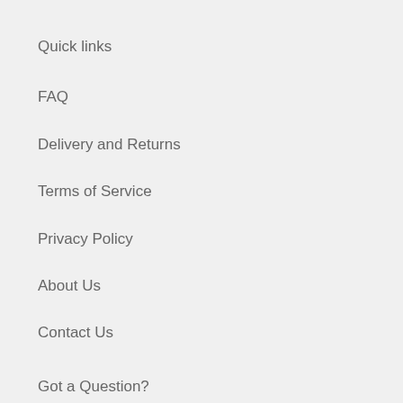Quick links
FAQ
Delivery and Returns
Terms of Service
Privacy Policy
About Us
Contact Us
Got a Question?